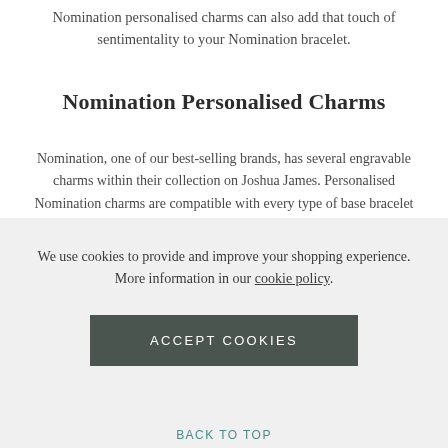Nomination personalised charms can also add that touch of sentimentality to your Nomination bracelet.
Nomination Personalised Charms
Nomination, one of our best-selling brands, has several engravable charms within their collection on Joshua James. Personalised Nomination charms are compatible with every type of base bracelet they offer. Whether you opt for their standard stainless steel to uphold the sleek silver tones in your Nomination bracelet or you decide that a rose gold plated
We use cookies to provide and improve your shopping experience. More information in our cookie policy.
ACCEPT COOKIES
BACK TO TOP